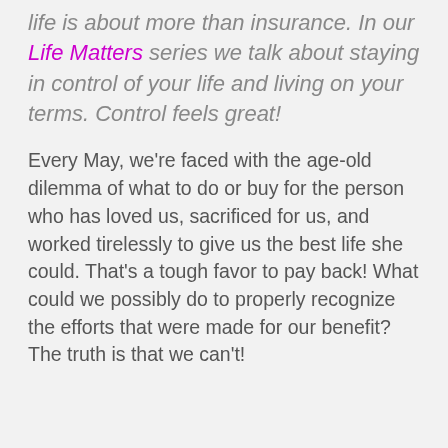life is about more than insurance. In our Life Matters series we talk about staying in control of your life and living on your terms. Control feels great!
Every May, we're faced with the age-old dilemma of what to do or buy for the person who has loved us, sacrificed for us, and worked tirelessly to give us the best life she could. That's a tough favor to pay back! What could we possibly do to properly recognize the efforts that were made for our benefit? The truth is that we can't!